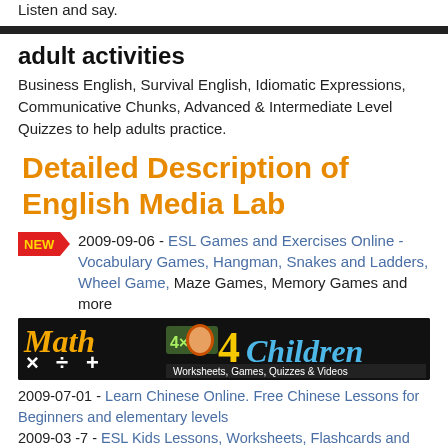Listen and say.
adult activities
Business English, Survival English, Idiomatic Expressions, Communicative Chunks, Advanced & Intermediate Level Quizzes to help adults practice.
Detailed Description of English Media Lab
2009-09-06 - ESL Games and Exercises Online - Vocabulary Games, Hangman, Snakes and Ladders, Wheel Game, Maze Games, Memory Games and more
[Figure (illustration): Math 4 Children banner - orange and yellow text on black background with cartoon child. Worksheets, Games, Quizzes & Videos]
2009-07-01 - Learn Chinese Online. Free Chinese Lessons for Beginners and elementary levels
2009-03 -7 - ESL Kids Lessons, Worksheets, Flashcards and phonics materials